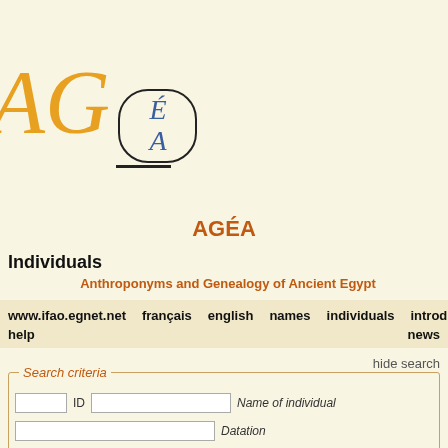[Figure (logo): AGÉA logo: large italic orange 'AG' letters with a cartouche containing italic blue 'É' over 'A']
AGÉA
Individuals
Anthroponyms and Genealogy of Ancient Egypt
www.ifao.egnet.net  français  english  names  individuals  introduction  help  news
hide search
Search criteria
ID  Name of individual  Datation  Origin